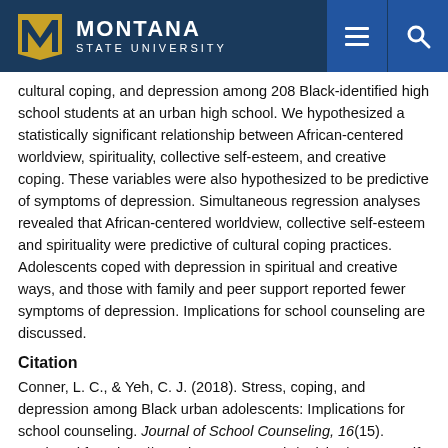Montana State University
cultural coping, and depression among 208 Black-identified high school students at an urban high school. We hypothesized a statistically significant relationship between African-centered worldview, spirituality, collective self-esteem, and creative coping. These variables were also hypothesized to be predictive of symptoms of depression. Simultaneous regression analyses revealed that African-centered worldview, collective self-esteem and spirituality were predictive of cultural coping practices. Adolescents coped with depression in spiritual and creative ways, and those with family and peer support reported fewer symptoms of depression. Implications for school counseling are discussed.
Citation
Conner, L. C., & Yeh, C. J. (2018). Stress, coping, and depression among Black urban adolescents: Implications for school counseling. Journal of School Counseling, 16(15). Retrieved from http://www.jsc.montana.edu/articles/v16n15.pdf
Terms of Article